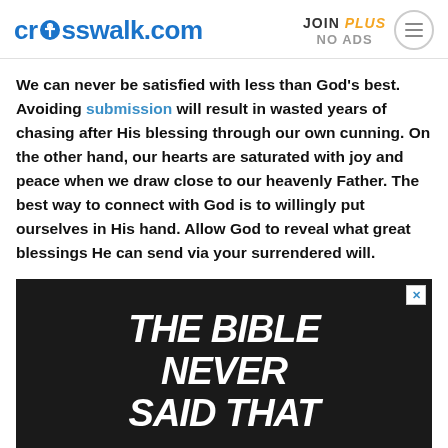crosswalk.com | JOIN PLUS NO ADS
We can never be satisfied with less than God’s best. Avoiding submission will result in wasted years of chasing after His blessing through our own cunning. On the other hand, our hearts are saturated with joy and peace when we draw close to our heavenly Father. The best way to connect with God is to willingly put ourselves in His hand. Allow God to reveal what great blessings He can send via your surrendered will.
[Figure (other): Advertisement banner with dark leather-texture background displaying white bold italic text reading: THE BIBLE NEVER SAID THAT]